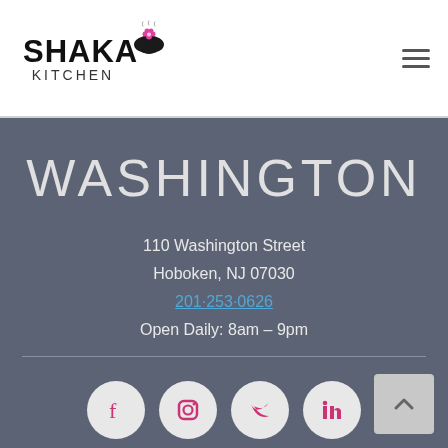[Figure (logo): Shaka Kitchen logo with text and bowl icon]
WASHINGTON
110 Washington Street
Hoboken, NJ 07030
201-253-0626
Open Daily: 8am – 9pm
[Figure (infographic): Social media icons row: Facebook, Instagram, Twitter, LinkedIn]